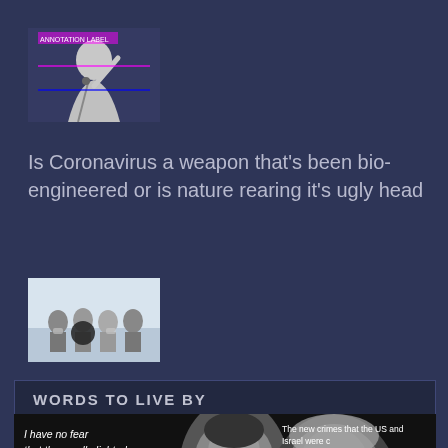[Figure (photo): Small thumbnail image of a person at a podium/microphone with one hand raised, against a dark background with colored annotation lines overlaid]
Is Coronavirus a weapon that's been bio-engineered or is nature rearing it's ugly head
[Figure (photo): Small thumbnail image of a group of people wearing masks outdoors]
WORDS TO LIVE BY
[Figure (photo): Black and white image of two men's faces, with quote text overlaid: 'I have no fear that the candle lighted in Palestine Years ago will ever be put out' and 'The new crimes that the US and Israel were [committed] in Gaza opened [the] easil[y] standard category -']